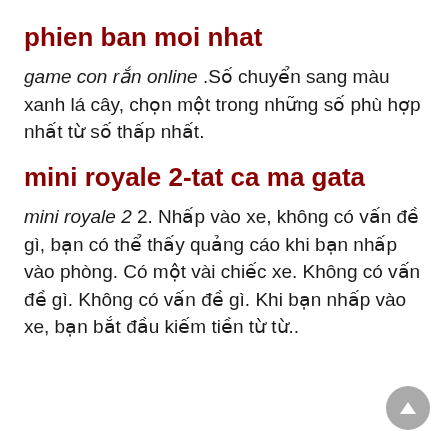phien ban moi nhat
game con rắn online .Số chuyển sang màu xanh lá cây, chọn một trong những số phù hợp nhất từ số thấp nhất.
mini royale 2-tat ca ma gata
mini royale 2 2. Nhấp vào xe, không có vấn đề gì, bạn có thể thấy quảng cáo khi bạn nhấp vào phòng. Có một vài chiếc xe. Không có vấn đề gì. Không có vấn đề gì. Khi bạn nhấp vào xe, bạn bắt đầu kiếm tiền từ từ..